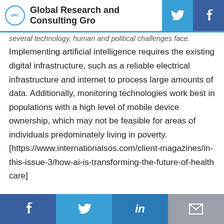Global Research and Consulting Gro
several technology, human and political challenges face. Implementing artificial intelligence requires the existing digital infrastructure, such as a reliable electrical infrastructure and internet to process large amounts of data. Additionally, monitoring technologies work best in populations with a high level of mobile device ownership, which may not be feasible for areas of individuals predominately living in poverty. [https://www.internationalsos.com/client-magazines/in-this-issue-3/how-ai-is-transforming-the-future-of-healthcare]
As the global health and economic environment is becoming increasingly digitized and interconnected, artificial